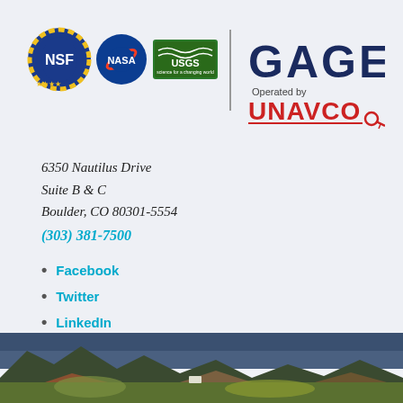[Figure (logo): NSF, NASA, and USGS logos alongside a vertical divider, then GAGE title and UNAVCO operated-by branding]
6350 Nautilus Drive
Suite B & C
Boulder, CO 80301-5554
(303) 381-7500
Facebook
Twitter
LinkedIn
[Figure (photo): Landscape photo strip showing rocky mountain terrain with vegetation at the bottom of the page]